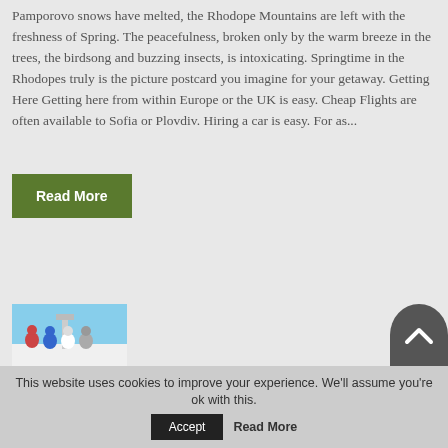Pamporovo snows have melted, the Rhodope Mountains are left with the freshness of Spring. The peacefulness, broken only by the warm breeze in the trees, the birdsong and buzzing insects, is intoxicating. Springtime in the Rhodopes truly is the picture postcard you imagine for your getaway. Getting Here Getting here from within Europe or the UK is easy. Cheap Flights are often available to Sofia or Plovdiv. Hiring a car is easy. For as...
Read More
[Figure (photo): Thumbnail image showing people in ski gear outdoors]
[Figure (other): Scroll-to-top button — grey semicircle with upward chevron]
This website uses cookies to improve your experience. We'll assume you're ok with this. Accept Read More